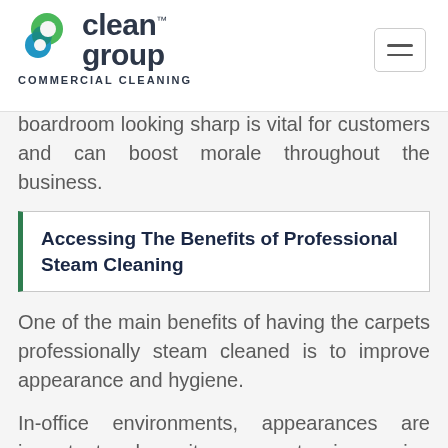Clean Group Commercial Cleaning
boardroom looking sharp is vital for customers and can boost morale throughout the business.
Accessing The Benefits of Professional Steam Cleaning
One of the main benefits of having the carpets professionally steam cleaned is to improve appearance and hygiene.
In-office environments, appearances are important when it comes to impressing customers and staff. For example, if you have a well-maintained reception or boardroom, this can impress visitors before they even step foot on your business premises.